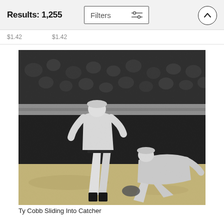Results: 1,255
Filters
$1.42   $1.42
[Figure (photo): Black and white vintage baseball photograph showing Ty Cobb sliding into home plate with a catcher attempting to tag him out, large crowd of spectators visible in the background, early 20th century stadium setting.]
Ty Cobb Sliding Into Catcher